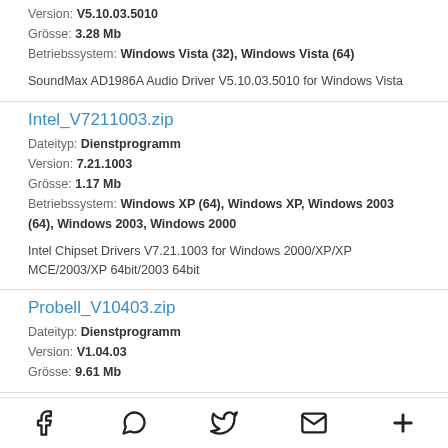Version: V5.10.03.5010
Grösse: 3.28 Mb
Betriebssystem: Windows Vista (32), Windows Vista (64)
SoundMax AD1986A Audio Driver V5.10.03.5010 for Windows Vista
Intel_V7211003.zip
Dateityp: Dienstprogramm
Version: 7.21.1003
Grösse: 1.17 Mb
Betriebssystem: Windows XP (64), Windows XP, Windows 2003 (64), Windows 2003, Windows 2000
Intel Chipset Drivers V7.21.1003 for Windows 2000/XP/XP MCE/2003/XP 64bit/2003 64bit
Probell_V10403.zip
Dateityp: Dienstprogramm
Version: V1.04.03
Grösse: 9.61 Mb
Social share icons: Facebook, WhatsApp, Twitter, Email, More